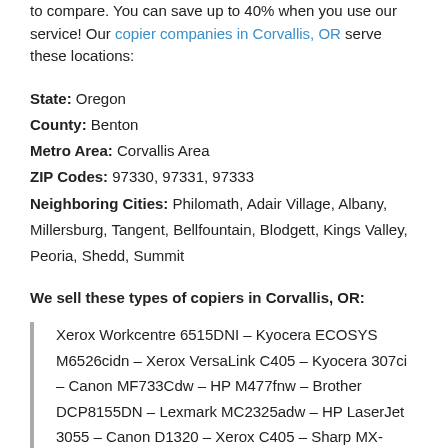to compare. You can save up to 40% when you use our service! Our copier companies in Corvallis, OR serve these locations:
State: Oregon
County: Benton
Metro Area: Corvallis Area
ZIP Codes: 97330, 97331, 97333
Neighboring Cities: Philomath, Adair Village, Albany, Millersburg, Tangent, Bellfountain, Blodgett, Kings Valley, Peoria, Shedd, Summit
We sell these types of copiers in Corvallis, OR:
Xerox Workcentre 6515DNI – Kyocera ECOSYS M6526cidn – Xerox VersaLink C405 – Kyocera 307ci – Canon MF733Cdw – HP M477fnw – Brother DCP8155DN – Lexmark MC2325adw – HP LaserJet 3055 – Canon D1320 – Xerox C405 – Sharp MX-C304W – Toshiba e-STUDIO8515A –